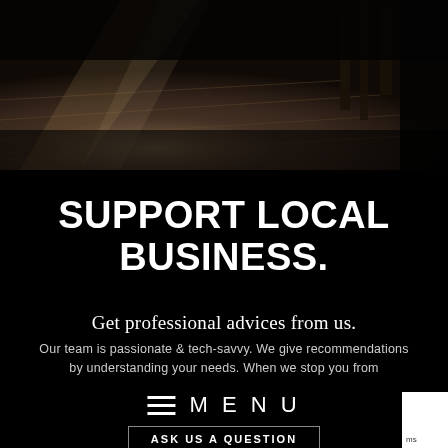[Figure (photo): Dark interior photo showing wooden flooring with light rays streaming across it, with dark furniture/stairs visible in the background right]
SUPPORT LOCAL BUSINESS.
Get professional advices from us.
Our team is passionate & tech-savvy. We give recommendations by understanding your needs. When we stop you from
≡ MENU
ASK US A QUESTION